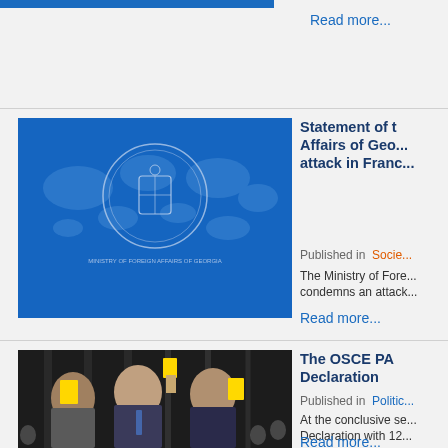Read more...
[Figure (photo): Ministry of Foreign Affairs of Georgia official seal/logo on blue background with world map]
Statement of the Ministry of Foreign Affairs of Georgia on the terrorist attack in France
Published in  Society
The Ministry of Foreign Affairs of Georgia condemns an attack...
Read more...
[Figure (photo): People at an OSCE Parliamentary Assembly session holding yellow booklets and voting]
The OSCE PA adopted the Tbilisi Declaration
Published in  Politics
At the conclusive session… adopted the Tbilisi Declaration with 12…
Read more...